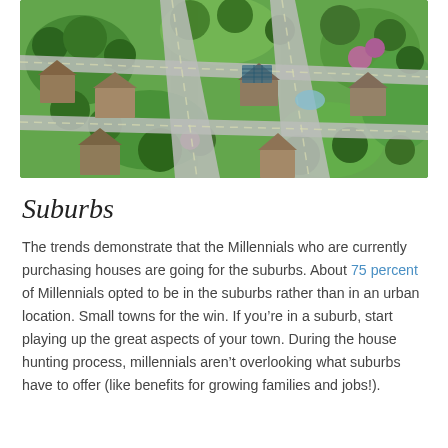[Figure (photo): Aerial drone view of a suburban neighborhood with green lawns, trees, and houses with roads intersecting]
Suburbs
The trends demonstrate that the Millennials who are currently purchasing houses are going for the suburbs. About 75 percent of Millennials opted to be in the suburbs rather than in an urban location. Small towns for the win. If you’re in a suburb, start playing up the great aspects of your town. During the house hunting process, millennials aren’t overlooking what suburbs have to offer (like benefits for growing families and jobs!).